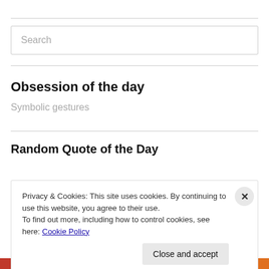Search
Obsession of the day
Symbolic gestures
Random Quote of the Day
Privacy & Cookies: This site uses cookies. By continuing to use this website, you agree to their use.
To find out more, including how to control cookies, see here: Cookie Policy
Close and accept